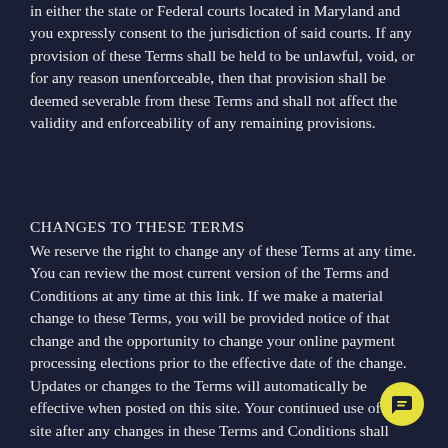in either the state or Federal courts located in Maryland and you expressly consent to the jurisdiction of said courts. If any provision of these Terms shall be held to be unlawful, void, or for any reason unenforceable, then that provision shall be deemed severable from these Terms and shall not affect the validity and enforceability of any remaining provisions.
CHANGES TO THESE TERMS
We reserve the right to change any of these Terms at any time. You can review the most current version of the Terms and Conditions at any time at this link. If we make a material change to these Terms, you will be provided notice of that change and the opportunity to change your online payment processing elections prior to the effective date of the change. Updates or changes to the Terms will automatically be effective when posted on this site. Your continued use of this site after any changes in these Terms and Conditions shall constitute your consent to these changes. Way Leases reserves the right to change, modify or discontinue, temporarily or